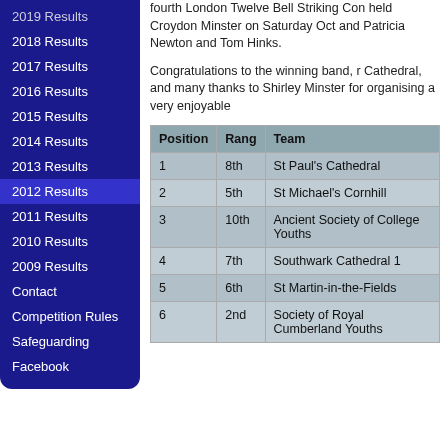2019 Results
2018 Results
2017 Results
2016 Results
2015 Results
2014 Results
2013 Results
2012 Results
2011 Results
2010 Results
2009 Results
Contact
Competition Rules
Safeguarding
Facebook
fourth London Twelve Bell Striking Con held Croydon Minster on Saturday Oct and Patricia Newton and Tom Hinks.
Congratulations to the winning band, r Cathedral, and many thanks to Shirley Minster for organising a very enjoyable
| Position | Rang | Team |
| --- | --- | --- |
| 1 | 8th | St Paul's Cathedral |
| 2 | 5th | St Michael's Cornhill |
| 3 | 10th | Ancient Society of College Youths |
| 4 | 7th | Southwark Cathedral 1 |
| 5 | 6th | St Martin-in-the-Fields |
| 6 | 2nd | Society of Royal Cumberland Youths |